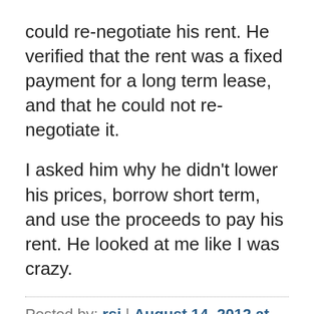could re-negotiate his rent. He verified that the rent was a fixed payment for a long term lease, and that he could not re-negotiate it.
I asked him why he didn't lower his prices, borrow short term, and use the proceeds to pay his rent. He looked at me like I was crazy.
Posted by: rsj | August 14, 2012 at 03:03 AM
Jon
That is a fair way to characterise my position on time preference/ MEC, though